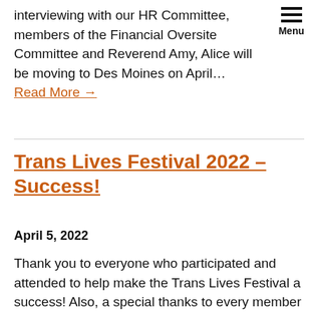interviewing with our HR Committee, members of the Financial Oversite Committee and Reverend Amy, Alice will be moving to Des Moines on April… Read More →
Trans Lives Festival 2022 – Success!
April 5, 2022
Thank you to everyone who participated and attended to help make the Trans Lives Festival a success! Also, a special thanks to every member of TAG, who